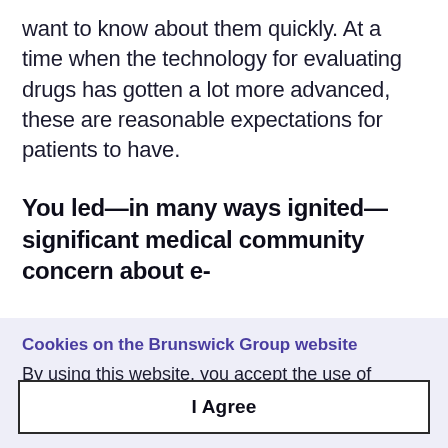want to know about them quickly. At a time when the technology for evaluating drugs has gotten a lot more advanced, these are reasonable expectations for patients to have.
You led—in many ways ignited—significant medical community concern about e-
Cookies on the Brunswick Group website
By using this website, you accept the use of cookies. For more information on how to manage cookies, please read our cookie policy.
I Agree